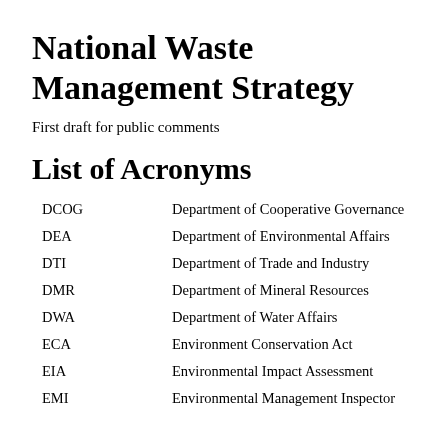National Waste Management Strategy
First draft for public comments
List of Acronyms
| Acronym | Definition |
| --- | --- |
| DCOG | Department of Cooperative Governance |
| DEA | Department of Environmental Affairs |
| DTI | Department of Trade and Industry |
| DMR | Department of Mineral Resources |
| DWA | Department of Water Affairs |
| ECA | Environment Conservation Act |
| EIA | Environmental Impact Assessment |
| EMI | Environmental Management Inspector |